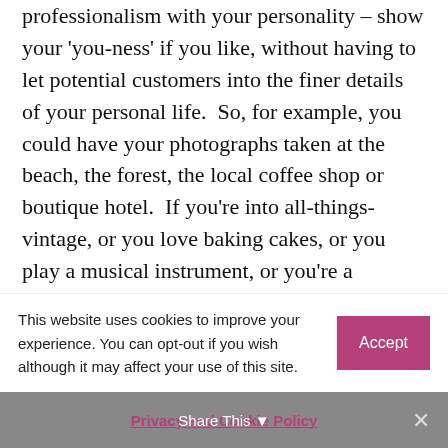professionalism with your personality – show your 'you-ness' if you like, without having to let potential customers into the finer details of your personal life.  So, for example, you could have your photographs taken at the beach, the forest, the local coffee shop or boutique hotel.  If you're into all-things-vintage, or you love baking cakes, or you play a musical instrument, or you're a mountain biker at weekends, you can add all kinds of props into your photographs which depict this side of your personality. And who in their right mind wouldn't stop to look at a
This website uses cookies to improve your experience. You can opt-out if you wish although it may affect your use of this site.
Accept
Privacy and Cookie Policy   Share This ✕